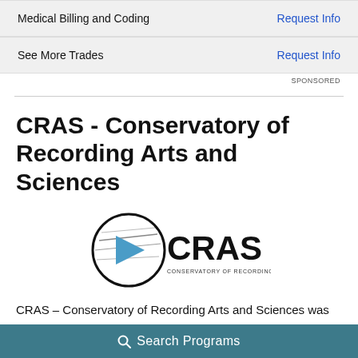| Program | Action |
| --- | --- |
| Medical Billing and Coding | Request Info |
| See More Trades | Request Info |
SPONSORED
CRAS - Conservatory of Recording Arts and Sciences
[Figure (logo): CRAS - Conservatory of Recording Arts and Sciences logo with circular emblem and play button triangle]
CRAS – Conservatory of Recording Arts and Sciences was
Search Programs